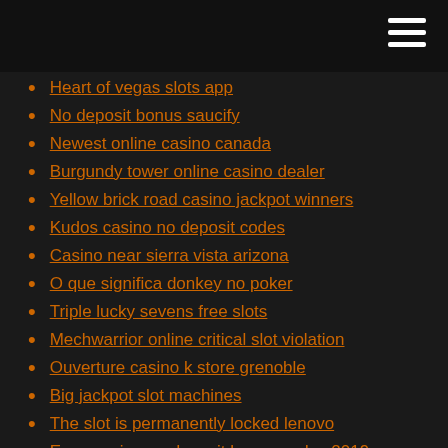Heart of vegas slots app
No deposit bonus saucify
Newest online casino canada
Burgundy tower online casino dealer
Yellow brick road casino jackpot winners
Kudos casino no deposit codes
Casino near sierra vista arizona
O que significa donkey no poker
Triple lucky sevens free slots
Mechwarrior online critical slot violation
Ouverture casino k store grenoble
Big jackpot slot machines
The slot is permanently locked lenovo
Enzo casino no deposit bonus codes 2019